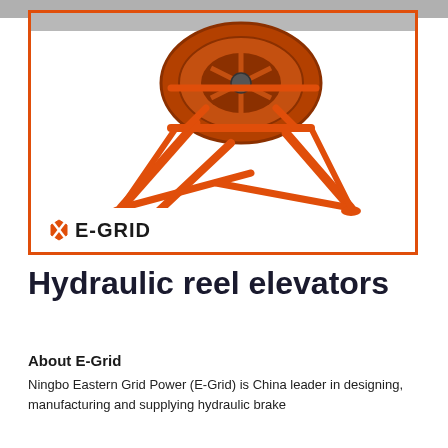[Figure (photo): Orange hydraulic reel elevator / cable reel stand with tripod legs and circular drum on top, shown on white background inside orange-bordered box. E-Grid logo displayed at bottom left of the box.]
Hydraulic reel elevators
About E-Grid
Ningbo Eastern Grid Power (E-Grid) is China leader in designing, manufacturing and supplying hydraulic brake